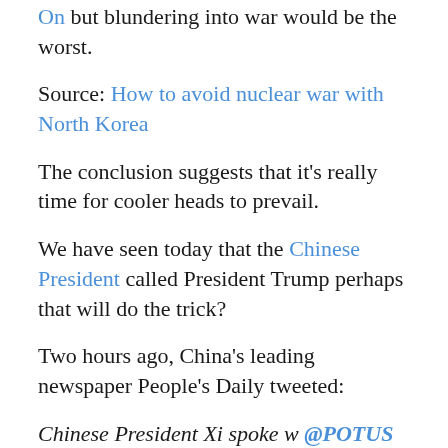On but blundering into war would be the worst.
Source: How to avoid nuclear war with North Korea
The conclusion suggests that it's really time for cooler heads to prevail.
We have seen today that the Chinese President called President Trump perhaps that will do the trick?
Two hours ago, China's leading newspaper People's Daily tweeted:
Chinese President Xi spoke w @POTUS Trump over the phone on Sat, called for restraint to avoid escalation of tensions on Korean Peninsula
Unfortunately, I fear that Trump is playing to the US domestic audience to try to win back some popularity and